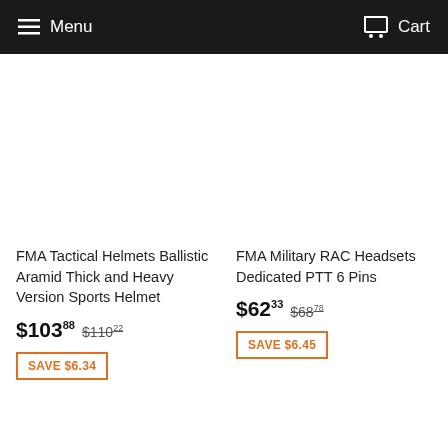Menu  Cart
FMA Tactical Helmets Ballistic Aramid Thick and Heavy Version Sports Helmet
$103.88  $110.22
SAVE $6.34
FMA Military RAC Headsets Dedicated PTT 6 Pins
$62.33  $68.78
SAVE $6.45